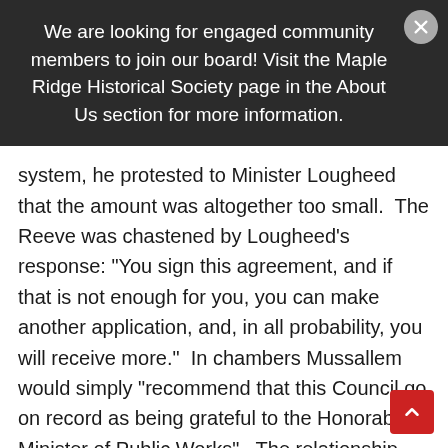We are looking for engaged community members to join our board! Visit the Maple Ridge Historical Society page in the About Us section for more information.
system, he protested to Minister Lougheed that the amount was altogether too small.  The Reeve was chastened by Lougheed’s response: “You sign this agreement, and if that is not enough for you, you can make another application, and, in all probability, you will receive more.”  In chambers Mussallem would simply “recommend that this Council go on record as being grateful to the Honorable Minister of Public Works”.  The relationship between the municipality and the province was often sour: the province was in a position to grant or withhold money, but the Reeve and council were the ones first to be accused of failure if relief fell